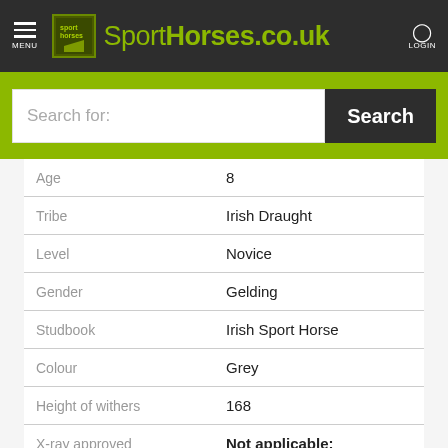SportHorses.co.uk — MENU | LOGIN
Search for:
| Field | Value |
| --- | --- |
| Age | 8 |
| Tribe | Irish Draught |
| Level | Novice |
| Gender | Gelding |
| Studbook | Irish Sport Horse |
| Colour | Grey |
| Height of withers | 168 |
| X-ray approved | Not applicable: |
| Clinical proven | Not applicable: |